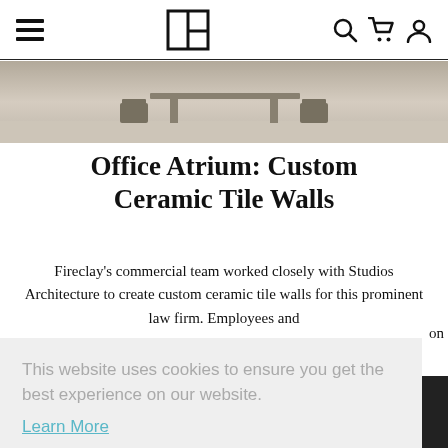Navigation bar with hamburger menu, logo, search, cart, and account icons
[Figure (photo): Partial view of an office atrium interior with furniture silhouettes against a light background]
Office Atrium: Custom Ceramic Tile Walls
Fireclay's commercial team worked closely with Studios Architecture to create custom ceramic tile walls for this prominent law firm. Employees and [text obscured] on
This website uses cookies to ensure you get the best experience on our website.
Learn More
Got it!